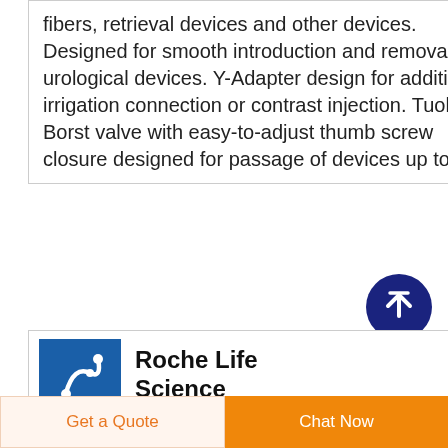fibers, retrieval devices and other devices. Designed for smooth introduction and removal of urological devices. Y-Adapter design for additional irrigation connection or contrast injection. Tuohy Borst valve with easy-to-adjust thumb screw closure designed for passage of devices up to 8F.
[Figure (illustration): Dark navy blue circle with white upward arrow icon - scroll to top button]
[Figure (logo): Roche Life Science logo - blue square with white swirl/molecular graphic]
Roche Life Science Welcome
Welcome to a new era of